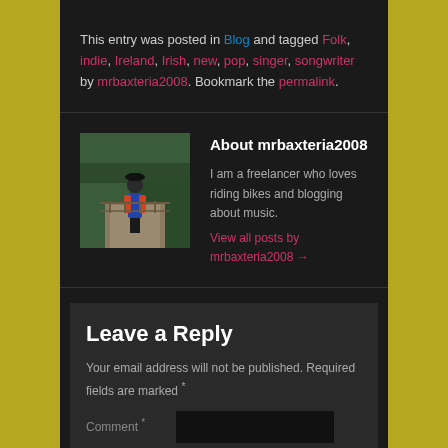This entry was posted in Blog and tagged Folk, indie, Ireland, Irish, new, pop, singer, songwriter by mrbaxteria2008. Bookmark the permalink.
About mrbaxteria2008
I am a freelancer who loves riding bikes and blogging about music.
View all posts by mrbaxteria2008 →
Leave a Reply
Your email address will not be published. Required fields are marked *
Comment *